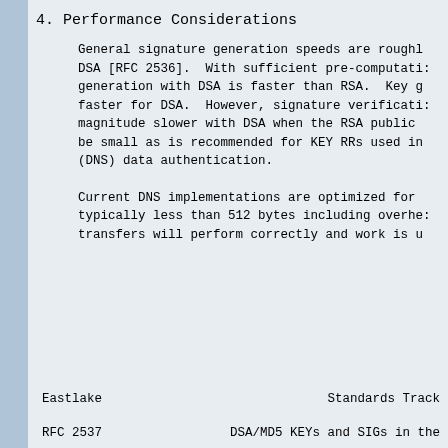4. Performance Considerations
General signature generation speeds are roughly the same for DSA [RFC 2536].  With sufficient pre-computation, signature generation with DSA is faster than RSA.  Key generation is also faster for DSA.  However, signature verification is orders of magnitude slower with DSA when the RSA public exponent is chosen to be small as is recommended for KEY RRs used in Domain Name System (DNS) data authentication.
Current DNS implementations are optimized for small transfers, typically less than 512 bytes including overhead.  Larger transfers will perform correctly and work is underway to optimize transfers will perform correctly and work is underway
Eastlake                        Standards Track
RFC 2537                DSA/MD5 KEYs and SIGs in the